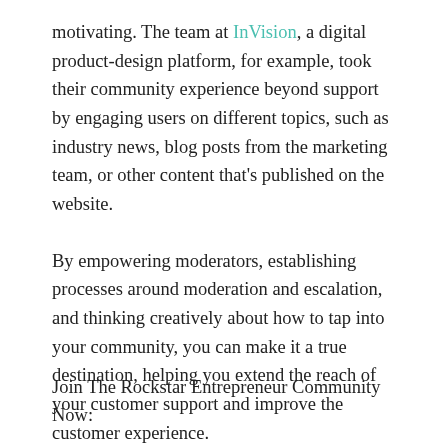motivating. The team at InVision, a digital product-design platform, for example, took their community experience beyond support by engaging users on different topics, such as industry news, blog posts from the marketing team, or other content that's published on the website.
By empowering moderators, establishing processes around moderation and escalation, and thinking creatively about how to tap into your community, you can make it a true destination, helping you extend the reach of your customer support and improve the customer experience.
Join The Rockstar Entrepreneur Community Now: